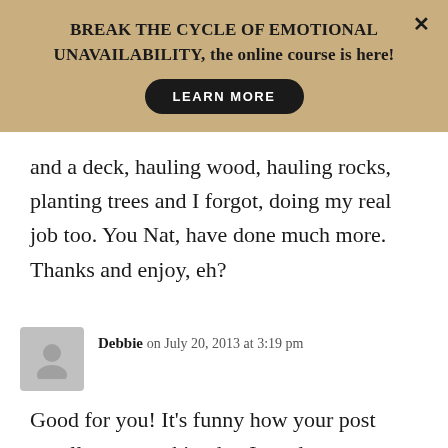[Figure (infographic): Banner advertisement with tan/gold background. Text reads: 'BREAK THE CYCLE OF EMOTIONAL UNAVAILABILITY, the online course is here!' with a black 'LEARN MORE' button and a close (×) button in the top right.]
and a deck, hauling wood, hauling rocks, planting trees and I forgot, doing my real job too. You Nat, have done much more. Thanks and enjoy, eh?
Debbie on July 20, 2013 at 3:19 pm
Good for you! It's funny how your post usually seem to hit what I need